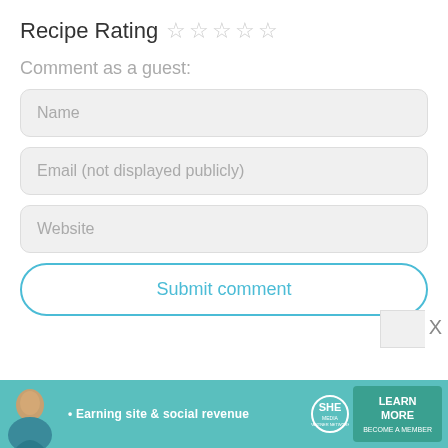Recipe Rating ☆☆☆☆☆
Comment as a guest:
[Figure (screenshot): Name input field (text input box with placeholder 'Name')]
[Figure (screenshot): Email input field with placeholder 'Email (not displayed publicly)']
[Figure (screenshot): Website input field with placeholder 'Website']
[Figure (screenshot): Submit comment button with teal outline]
[Figure (screenshot): Advertisement banner: SHE Partner Network - Earning site & social revenue - LEARN MORE - BECOME A MEMBER]